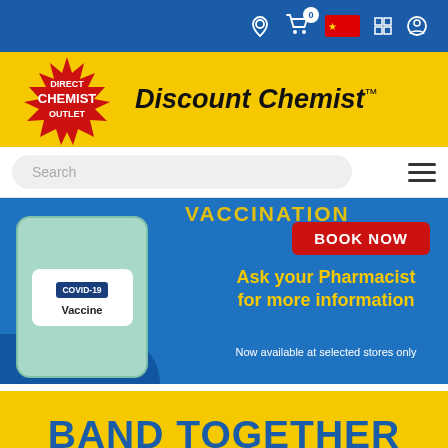[Figure (screenshot): Direct Chemist Outlet website top navigation bar with blue background, cart icon showing 0, Chinese flag, and user icon]
[Figure (logo): Direct Chemist Outlet red starburst logo with white text DIRECT CHEMIST OUTLET beside black text Discount Chemist TM on yellow background]
Search
[Figure (infographic): COVID-19 Vaccine booking banner with blue background, vaccine card illustration, BOOK NOW red button, Ask your Pharmacist for more information text in yellow, Now available at selected stores only in white]
BAND TOGETHER